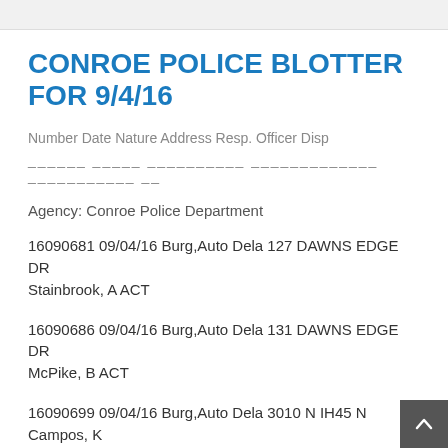CONROE POLICE BLOTTER FOR 9/4/16
Number Date Nature Address Resp. Officer Disp
______ _____ __________ _____________ ___________ __
Agency: Conroe Police Department
16090681 09/04/16 Burg,Auto Dela 127 DAWNS EDGE DR Stainbrook, A ACT
16090686 09/04/16 Burg,Auto Dela 131 DAWNS EDGE DR McPike, B ACT
16090699 09/04/16 Burg,Auto Dela 3010 N IH45 N Campos, K ACT